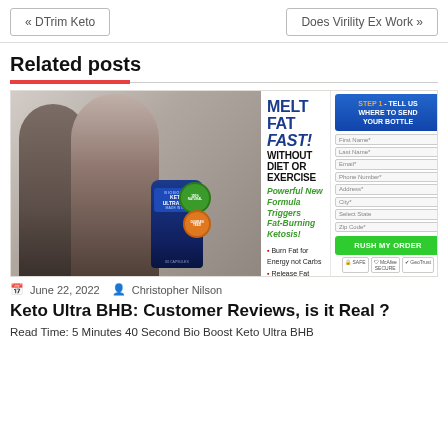« DTrim Keto    Does Virility Ex Work »
Related posts
[Figure (illustration): Keto Ultra BHB advertisement image showing fit couple, supplement bottle, 'Melt Fat Fast! Without Diet or Exercise' headline, bullet points about fat burning, media logos, and order form with Rush My Order button.]
June 22, 2022   Christopher Nilson
Keto Ultra BHB: Customer Reviews, is it Real ?
Read Time: 5 Minutes 40 Second Bio Boost Keto Ultra BHB